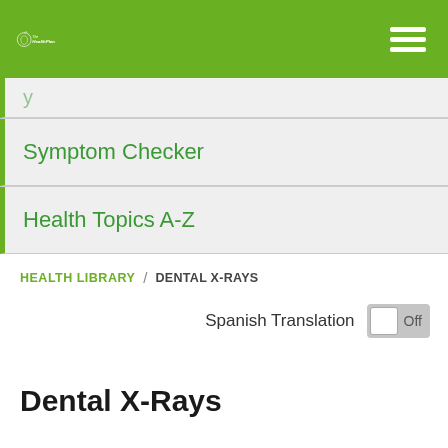The Health Plan
Symptom Checker
Health Topics A-Z
HEALTH LIBRARY / DENTAL X-RAYS
Spanish Translation Off
Dental X-Rays